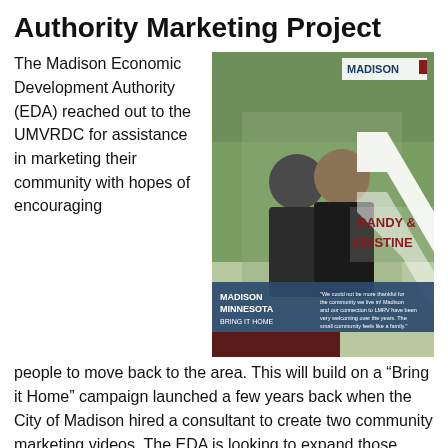Authority Marketing Project
The Madison Economic Development Authority (EDA) reached out to the UMVRDC for assistance in marketing their community with hopes of encouraging people to move back to the area. This will build on a “Bring it Home” campaign launched a few years back when the City of Madison hired a consultant to create two community marketing videos. The EDA is looking to expand those efforts and has
[Figure (photo): Book cover featuring a couple (Randy & Kristine) with text 'Madison Minnesota Bring it Home' and a quote about the community. The Madison Minnesota logo appears at the top right.]